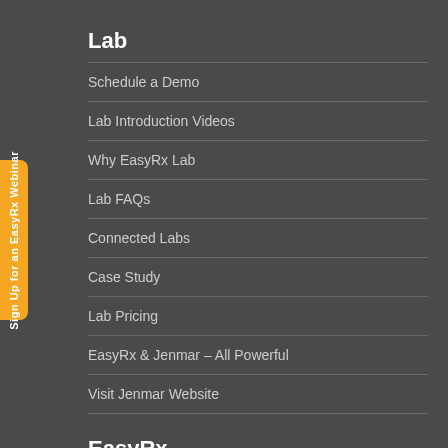Lab
Schedule a Demo
Lab Introduction Videos
Why EasyRx Lab
Lab FAQs
Connected Labs
Case Study
Lab Pricing
EasyRx & Jenmar – All Powerful
Visit Jenmar Website
EasyRx
EasyRx 3D
Sign Up for an EasyRx Webinar